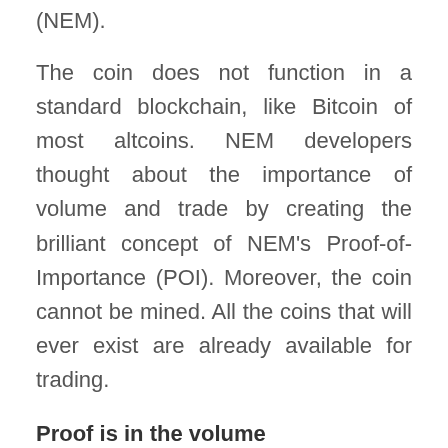(NEM).
The coin does not function in a standard blockchain, like Bitcoin of most altcoins. NEM developers thought about the importance of volume and trade by creating the brilliant concept of NEM’s Proof-of-Importance (POI). Moreover, the coin cannot be mined. All the coins that will ever exist are already available for trading.
Proof is in the volume
Makoto is a developer who works for NEM and explained to Motherboard how Proof-of-Income works. “With Proof-of-